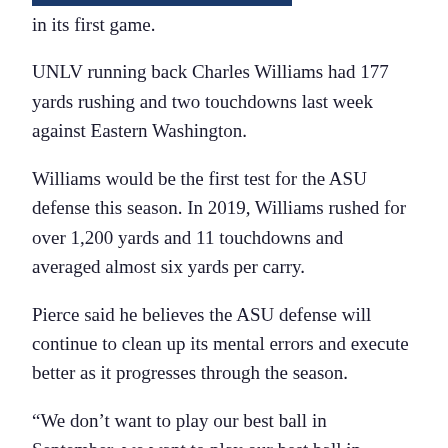in its first game.
UNLV running back Charles Williams had 177 yards rushing and two touchdowns last week against Eastern Washington.
Williams would be the first test for the ASU defense this season. In 2019, Williams rushed for over 1,200 yards and 11 touchdowns and averaged almost six yards per carry.
Pierce said he believes the ASU defense will continue to clean up its mental errors and execute better as it progresses through the season.
“We don’t want to play our best ball in September, we want to play our best ball in November and December,” Pierce said.
In three of the last five years, the Pac-12 champion’s defense